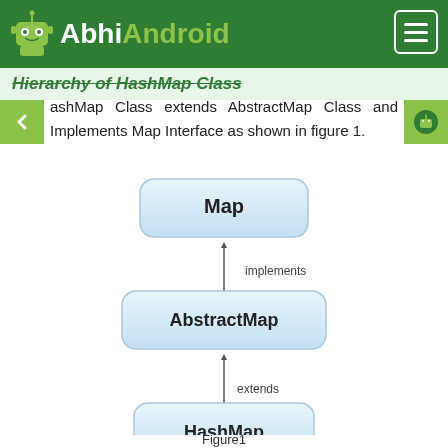AbhiAndroid
Hierarchy of HashMap Class
HashMap Class extends AbstractMap Class and Implements Map Interface as shown in figure 1.
[Figure (flowchart): Class hierarchy diagram showing HashMap extends AbstractMap which implements Map. Three rounded rectangles connected by arrows: Map at top, AbstractMap in middle (connected by 'implements' arrow from AbstractMap to Map), HashMap at bottom (connected by 'extends' arrow from HashMap to AbstractMap).]
Figure1